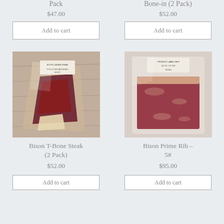Pack
Bone-in (2 Pack)
$47.00
$52.00
Add to cart
Add to cart
[Figure (photo): Vacuum-sealed bison T-bone steak package labeled 'BISON T-BONE STEAK' on wooden surface]
[Figure (photo): Vacuum-sealed bison prime rib package on light surface]
Bison T-Bone Steak (2 Pack)
Bison Prime Rib – 5#
$52.00
$95.00
Add to cart
Add to cart